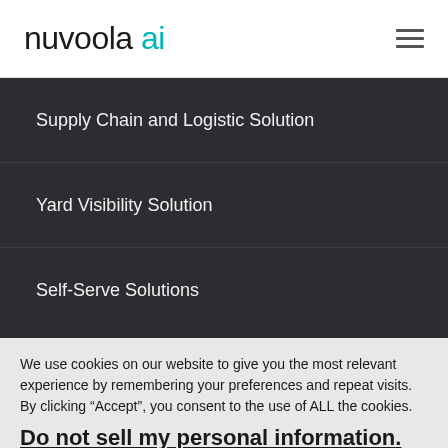nuvoola ai
Supply Chain and Logistic Solution
Yard Visibility Solution
Self-Serve Solutions
We use cookies on our website to give you the most relevant experience by remembering your preferences and repeat visits. By clicking “Accept”, you consent to the use of ALL the cookies.
Do not sell my personal information.
Accept  Cookie Settings